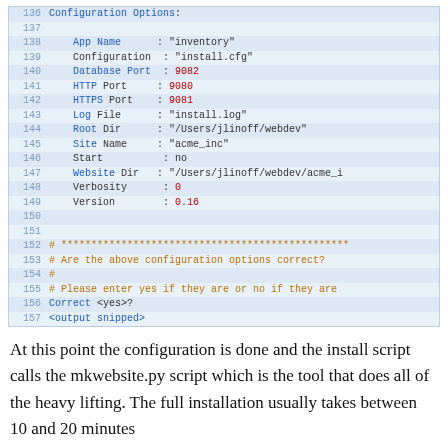[Figure (screenshot): Code/terminal output block showing configuration options from lines 136-157 in a syntax-highlighted monospace display. Lines show App Name, Configuration, Database Port (9082), HTTP Port (9080), HTTPS Port (9081), Log File, Root Dir, Site Name, Start, Website Dir, Verbosity (0), Version (0.16), followed by comment lines asking if configuration is correct, and a prompt line 'Correct <yes>?' and '<output snipped>'.]
At this point the configuration is done and the install script calls the mkwebsite.py script which is the tool that does all of the heavy lifting. The full installation usually takes between 10 and 20 minutes